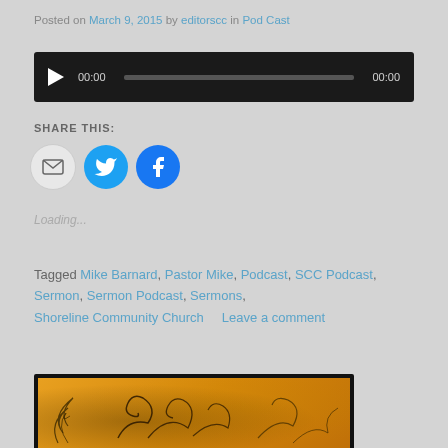Posted on March 9, 2015 by editorscc in Pod Cast
[Figure (other): Audio player widget with play button, time display 00:00, progress bar, and end time 00:00 on dark background]
SHARE THIS:
[Figure (infographic): Three social sharing icon circles: email (grey), Twitter (blue bird), Facebook (blue f)]
Loading...
Tagged Mike Barnard, Pastor Mike, Podcast, SCC Podcast, Sermon, Sermon Podcast, Sermons, Shoreline Community Church     Leave a comment
[Figure (photo): Decorative image with orange/golden background and dark floral/swirl design elements]